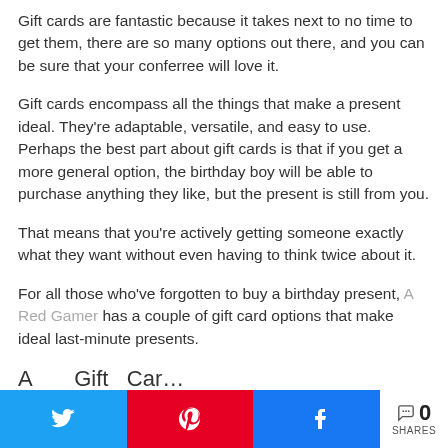Gift cards are fantastic because it takes next to no time to get them, there are so many options out there, and you can be sure that your conferree will love it.
Gift cards encompass all the things that make a present ideal. They're adaptable, versatile, and easy to use. Perhaps the best part about gift cards is that if you get a more general option, the birthday boy will be able to purchase anything they like, but the present is still from you.
That means that you're actively getting someone exactly what they want without even having to think twice about it.
For all those who've forgotten to buy a birthday present, A Red Gamer has a couple of gift card options that make ideal last-minute presents.
0 SHARES (Twitter, Pinterest, Facebook share buttons)